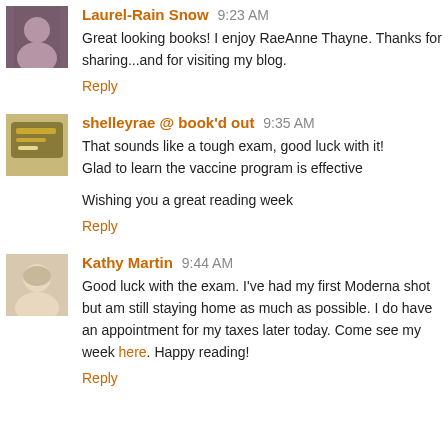Laurel-Rain Snow 9:23 AM
Great looking books! I enjoy RaeAnne Thayne. Thanks for sharing...and for visiting my blog.
Reply
shelleyrae @ book'd out 9:35 AM
That sounds like a tough exam, good luck with it! Glad to learn the vaccine program is effective

Wishing you a great reading week
Reply
Kathy Martin 9:44 AM
Good luck with the exam. I've had my first Moderna shot but am still staying home as much as possible. I do have an appointment for my taxes later today. Come see my week here. Happy reading!
Reply